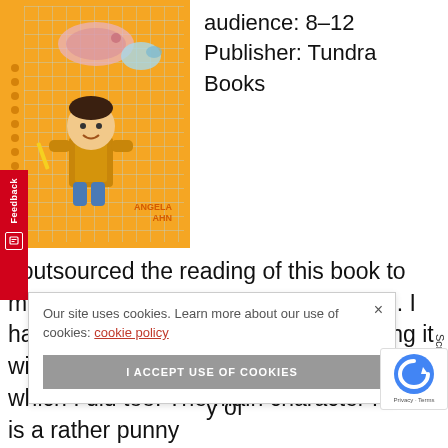[Figure (illustration): Book cover illustration showing a boy in an orange vest holding a pencil, standing in front of a grid paper background with sea creatures. Author name 'ANGELA AHN' shown in bottom right of cover. Cover has orange border and spiral binding on left side.]
audience: 8–12
Publisher: Tundra Books
I outsourced the reading of this book to my friend Leila who 11 and in Grade 6. I had read a bit myself d loved discussing it with her. Leila found e book really funny, which I did too. The main character Peter is a rather punny y of through onnec f havi
Our site uses cookies. Learn more about our use of cookies: cookie policy
I ACCEPT USE OF COOKIES